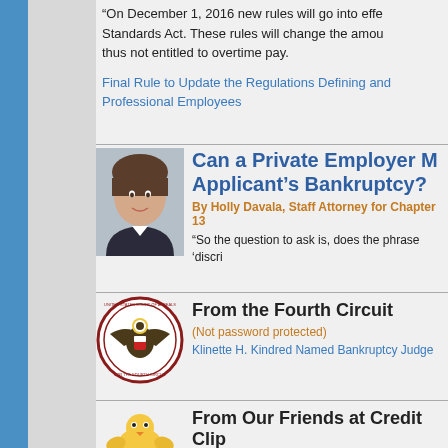“On December 1, 2016 new rules will go into effe… Standards Act. These rules will change the amou… thus not entitled to overtime pay.
Final Rule to Update the Regulations Defining and… Professional Employees
Can a Private Employer M… Applicant’s Bankruptcy?
By Holly Davala, Staff Attorney for Chapter 13…
“So the question to ask is, does the phrase ‘discri…
From the Fourth Circuit
(Not password protected)
Klinette H. Kindred Named Bankruptcy Judge
From Our Friends at Credit Clip…
(Not password protected)
Creative Avoidance of Potential FDCPA Liabilit…